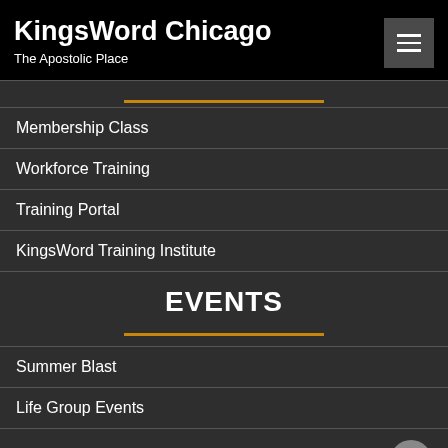KingsWord Chicago
The Apostolic Place
Membership Class
Workforce Training
Training Portal
KingsWord Training Institute
EVENTS
Summer Blast
Life Group Events
Winter Blast
Christmas Production